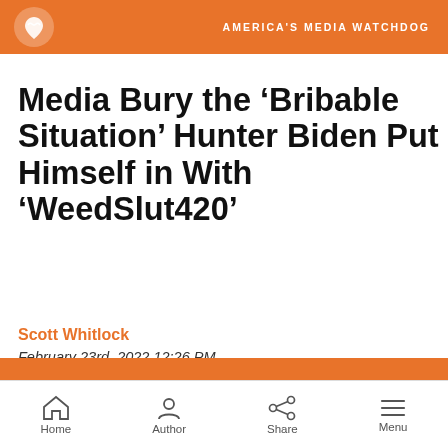AMERICA'S MEDIA WATCHDOG
Media Bury the ‘Bribable Situation’ Hunter Biden Put Himself in With ‘WeedSlut420’
Scott Whitlock
February 23rd, 2022 12:26 PM
Text to Speech
00:00  00:00